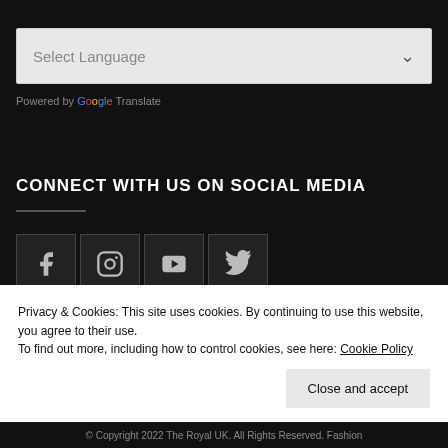Select Language
Powered by Google Translate
CONNECT WITH US ON SOCIAL MEDIA
[Figure (illustration): Four social media icon boxes: Facebook, Instagram, YouTube, Twitter]
Privacy & Cookies: This site uses cookies. By continuing to use this website, you agree to their use.
To find out more, including how to control cookies, see here: Cookie Policy
Close and accept
© Copyright 2022 The Royal UK. All Rights Reserved. Fashion